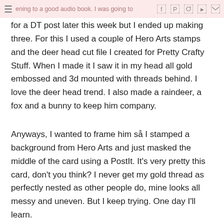listening to a good audio book. I was going to just make one for a DT post later this week but I ended up making three. [social icons: Facebook, Pinterest, Instagram, YouTube, Email]
for a DT post later this week but I ended up making three. For this I used a couple of Hero Arts stamps and the deer head cut file I created for Pretty Crafty Stuff. When I made it I saw it in my head all gold embossed and 3d mounted with threads behind. I love the deer head trend. I also made a raindeer, a fox and a bunny to keep him company.
Anyways, I wanted to frame him så I stamped a background from Hero Arts and just masked the middle of the card using a PostIt. It's very pretty this card, don't you think? I never get my gold thread as perfectly nested as other people do, mine looks all messy and uneven. But I keep trying. One day I'll learn.
Thanks for stopping by! There will be more Christmas in the blog soon. Promise! And I don't even send out Christmas cards, more than to the closest family. But I'm in a Cristmas-